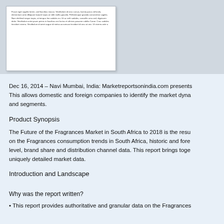[Figure (other): Thumbnail of a document page showing small Lorem Ipsum placeholder text]
Dec 16, 2014 – Navi Mumbai, India: Marketreportsonindia.com presents This allows domestic and foreign companies to identify the market dynamics and segments.
Product Synopsis
The Future of the Fragrances Market in South Africa to 2018 is the result on the Fragrances consumption trends in South Africa, historic and fore level, brand share and distribution channel data. This report brings toge uniquely detailed market data.
Introduction and Landscape
Why was the report written?
This report provides authoritative and granular data on the Fragrances